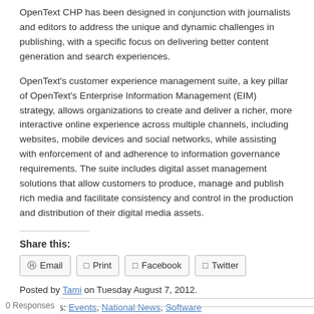OpenText CHP has been designed in conjunction with journalists and editors to address the unique and dynamic challenges in publishing, with a specific focus on delivering better content generation and search experiences.
OpenText's customer experience management suite, a key pillar of OpenText's Enterprise Information Management (EIM) strategy, allows organizations to create and deliver a richer, more interactive online experience across multiple channels, including websites, mobile devices and social networks, while assisting with enforcement of and adherence to information governance requirements. The suite includes digital asset management solutions that allow customers to produce, manage and publish rich media and facilitate consistency and control in the production and distribution of their digital media assets.
Share this:
Posted by Tami on Tuesday August 7, 2012.
Categories: Events, National News, Software
0 Responses